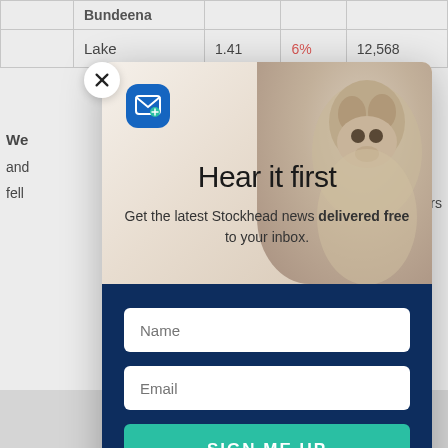|  | Lake | 1.41 | 6% | 12,568 |
| --- | --- | --- | --- | --- |
We
and
fell
[Figure (screenshot): Newsletter signup modal popup over a financial data page. The modal shows a groundhog photo background, an email icon, the title 'Hear it first', subtitle text 'Get the latest Stockhead news delivered free to your inbox.', with a dark navy blue form section containing Name input, Email input, and a teal 'SIGN ME UP' button. A close (X) button is in the top-left corner of the modal.]